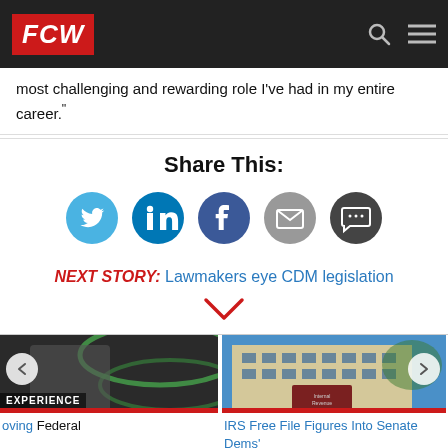FCW
most challenging and rewarding role I've had in my entire career."
Share This:
[Figure (infographic): Social sharing icons: Twitter (blue), LinkedIn (teal), Facebook (dark blue), Email (gray), Comment (dark gray)]
NEXT STORY: Lawmakers eye CDM legislation
[Figure (photo): Left carousel: Person smiling with green graphic overlay, EXPERIENCE label]
oving Federal
[Figure (photo): Center carousel: IRS building photographed from below against blue sky]
IRS Free File Figures Into Senate Dems' Reconciliation Bill
[Figure (photo): Right carousel: American flag and podium/lectern]
Senate Appropriat... To TMF